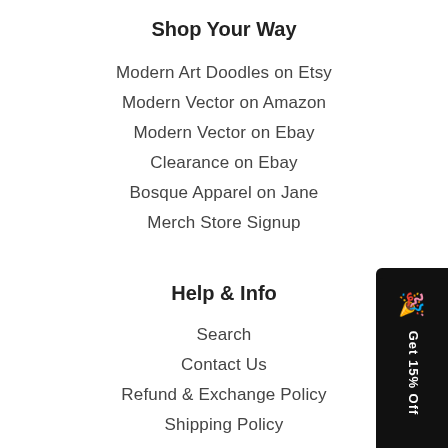Shop Your Way
Modern Art Doodles on Etsy
Modern Vector on Amazon
Modern Vector on Ebay
Clearance on Ebay
Bosque Apparel on Jane
Merch Store Signup
Help & Info
Search
Contact Us
Refund & Exchange Policy
Shipping Policy
Privacy Policy
Terms of Service
[Figure (infographic): Black rounded badge on the right side reading 'Get 15% Off' with a party popper icon, rotated vertically]